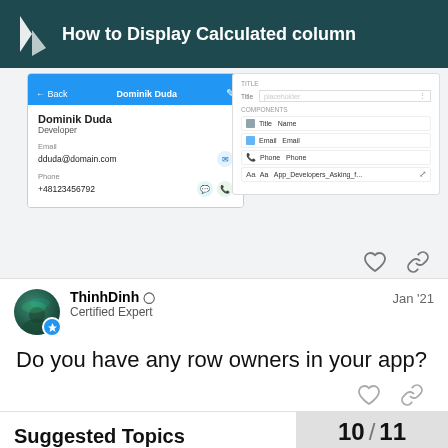How to Display Calculated column
[Figure (screenshot): Screenshot of a mobile app contact card showing Dominik Duda, Developer, with email dduda@domain.com and phone +48123456792, alongside a UI builder panel showing components: Title/Name, Email/Email, Phone/Phone, and a mention of App_Developers_Asking_f...]
ThinhDinh • Certified Expert | Jan '21
Do you have any row owners in your app?
10 / 11
Suggested Topics